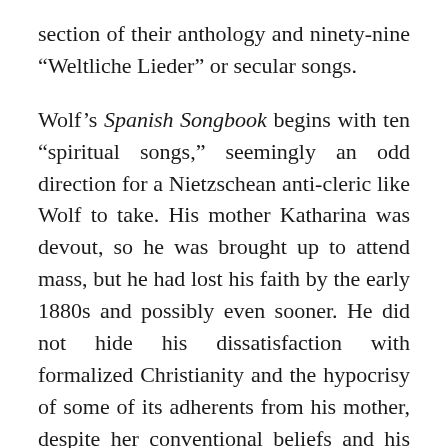section of their anthology and ninety-nine “Weltliche Lieder” or secular songs.
Wolf’s Spanish Songbook begins with ten “spiritual songs,” seemingly an odd direction for a Nietzschean anti-cleric like Wolf to take. His mother Katharina was devout, so he was brought up to attend mass, but he had lost his faith by the early 1880s and possibly even sooner. He did not hide his dissatisfaction with formalized Christianity and the hypocrisy of some of its adherents from his mother, despite her conventional beliefs and his love for her, expressed often in his letters. But he wanted her to know and understand him as he truly was; in a letter written in 1892, the year after the Spanish Songbook was published, Wolf characterizes